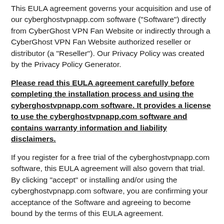This EULA agreement governs your acquisition and use of our cyberghostvpnapp.com software ("Software") directly from CyberGhost VPN Fan Website or indirectly through a CyberGhost VPN Fan Website authorized reseller or distributor (a "Reseller"). Our Privacy Policy was created by the Privacy Policy Generator.
Please read this EULA agreement carefully before completing the installation process and using the cyberghostvpnapp.com software. It provides a license to use the cyberghostvpnapp.com software and contains warranty information and liability disclaimers.
If you register for a free trial of the cyberghostvpnapp.com software, this EULA agreement will also govern that trial. By clicking "accept" or installing and/or using the cyberghostvpnapp.com software, you are confirming your acceptance of the Software and agreeing to become bound by the terms of this EULA agreement.